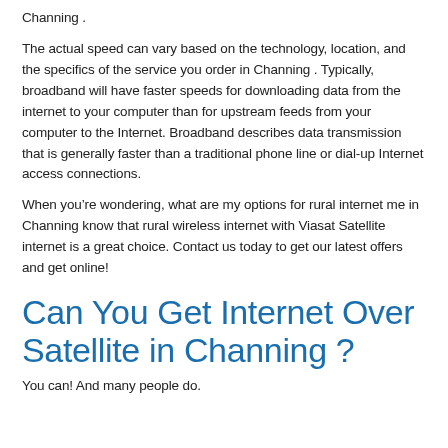Channing .
The actual speed can vary based on the technology, location, and the specifics of the service you order in Channing . Typically, broadband will have faster speeds for downloading data from the internet to your computer than for upstream feeds from your computer to the Internet. Broadband describes data transmission that is generally faster than a traditional phone line or dial-up Internet access connections.
When you’re wondering, what are my options for rural internet me in Channing know that rural wireless internet with Viasat Satellite internet is a great choice. Contact us today to get our latest offers and get online!
Can You Get Internet Over Satellite in Channing ?
You can! And many people do.